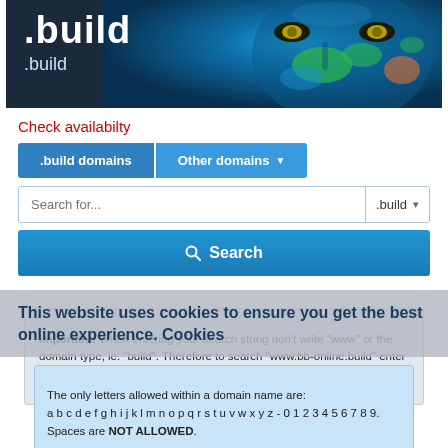[Figure (screenshot): Website banner with .build domain branding and a face painted with world map colors]
Check availabilty
[Figure (screenshot): Domain search UI with .build domains and Other domains tab buttons, search input with .build dropdown, and Search button]
This website uses cookies to ensure you get the best online experience. Cookies
Important: When entering your search string don't write "www" or the domain type, ie. "build". Therefore to search "www.bb-online.build" enter "bb-online" and nothing else.
The only letters allowed within a domain name are: a b c d e f g h i j k l m n o p q r s t u v w x y z - 0 1 2 3 4 5 6 7 8 9. Spaces are NOT ALLOWED.